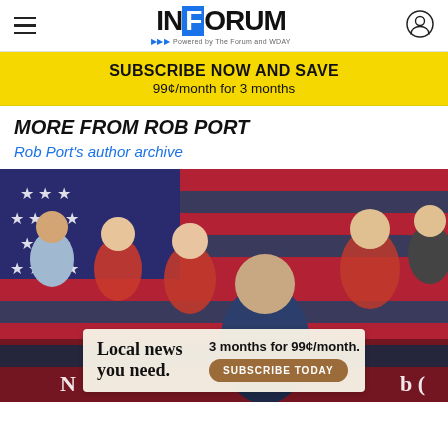INFORUM - Powered by The Forum and WDAY
SUBSCRIBE NOW AND SAVE
99¢/month for 3 months
MORE FROM ROB PORT
Rob Port's author archive
[Figure (photo): Group of young people posing in front of an American flag; a man in a navy suit is in the foreground. Some people are wearing red clothing.]
Local news you need.  3 months for 99¢/month.  SUBSCRIBE TODAY